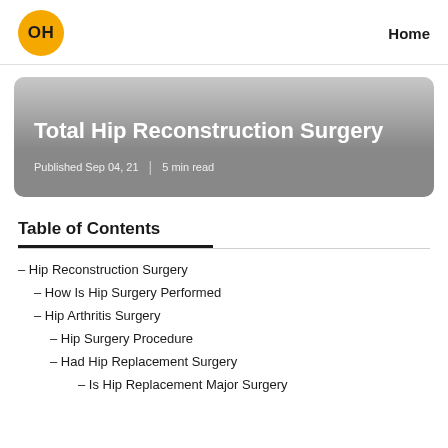OH  Home
[Figure (other): Hero banner with gradient gray background showing article title and metadata]
Total Hip Reconstruction Surgery
Published Sep 04, 21 | 5 min read
Table of Contents
– Hip Reconstruction Surgery
– How Is Hip Surgery Performed
– Hip Arthritis Surgery
– Hip Surgery Procedure
– Had Hip Replacement Surgery
– Is Hip Replacement Major Surgery